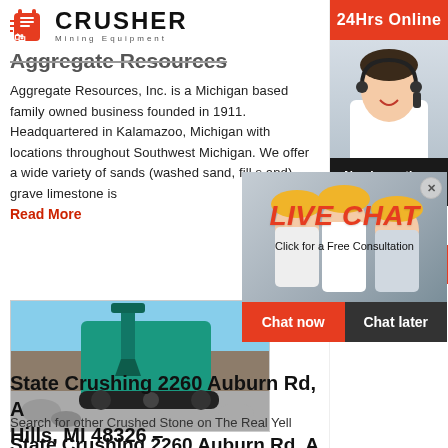[Figure (logo): Crusher Mining Equipment logo with red shopping bag icon and bold CRUSHER text]
Aggregate Resources
Aggregate Resources, Inc. is a Michigan based family owned business founded in 1911. Headquartered in Kalamazoo, Michigan with locations throughout Southwest Michigan. We offer a wide variety of sands (washed sand, fill sand), gravel, limestone is
Read More
[Figure (photo): Live Chat overlay with workers in hard hats, LIVE CHAT heading in red italic, Click for a Free Consultation, Chat now and Chat later buttons]
[Figure (photo): Crushing equipment / excavator at a quarry site]
State Crushing 2260 Auburn Rd, A Hills, MI 48326 –
Search for other Crushed Stone on The Real Yel
[Figure (infographic): Right sidebar with 24Hrs Online banner, agent photo with headset, Need questions & suggestion section with Chat Now button, Enquiry section, and limingjlmofen@sina.com email]